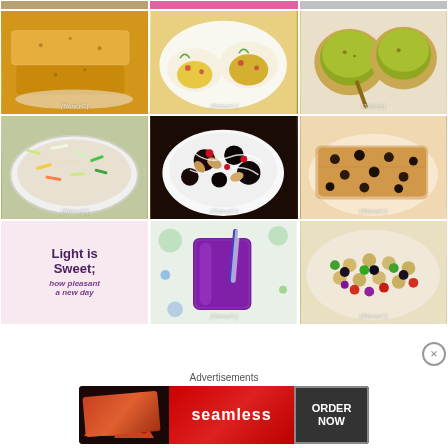[Figure (photo): Top partial row of food images (cropped)]
[Figure (photo): Cornbread squares on a plate with colorful background]
[Figure (photo): Deviled eggs topped with bacon and herbs]
[Figure (photo): Guacamole in small bowls with spoon]
[Figure (photo): Coleslaw in a white bowl with vegetables]
[Figure (photo): Mixed nuts with chocolate in a white bowl]
[Figure (photo): Chocolate chip cookie bar on a plate]
[Figure (illustration): Text graphic: Light is Sweet; how pleasant a new day]
[Figure (photo): Purple smoothie in a glass with straw]
[Figure (photo): Bean and chickpea salad with vegetables]
Advertisements
[Figure (screenshot): Seamless food delivery advertisement banner with ORDER NOW button]